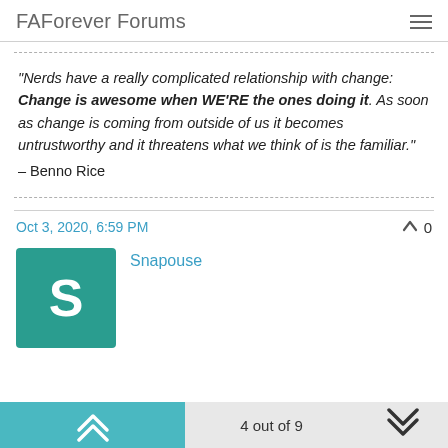FAForever Forums
"Nerds have a really complicated relationship with change: Change is awesome when WE'RE the ones doing it. As soon as change is coming from outside of us it becomes untrustworthy and it threatens what we think of is the familiar."
– Benno Rice
Oct 3, 2020, 6:59 PM
Snapouse
4 out of 9